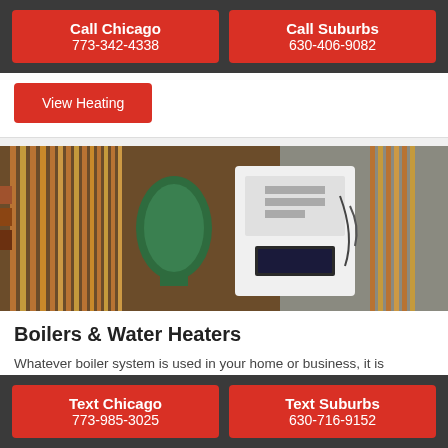Call Chicago 773-342-4338
Call Suburbs 630-406-9082
View Heating
[Figure (photo): Boiler room with copper pipes, green expansion tank, and white boiler unit]
Boilers & Water Heaters
Whatever boiler system is used in your home or business, it is important to keep it running efficiently.
Text Chicago 773-985-3025
Text Suburbs 630-716-9152